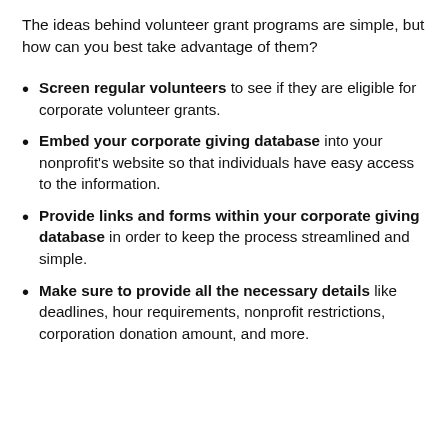The ideas behind volunteer grant programs are simple, but how can you best take advantage of them?
Screen regular volunteers to see if they are eligible for corporate volunteer grants.
Embed your corporate giving database into your nonprofit’s website so that individuals have easy access to the information.
Provide links and forms within your corporate giving database in order to keep the process streamlined and simple.
Make sure to provide all the necessary details like deadlines, hour requirements, nonprofit restrictions, corporation donation amount, and more.